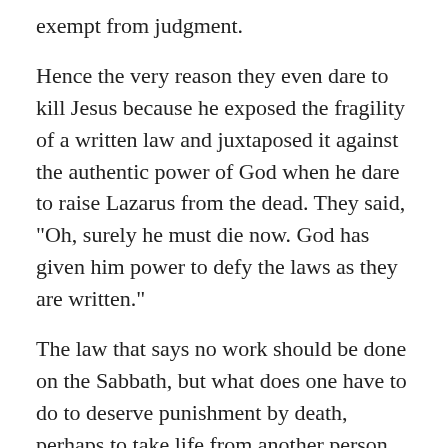exempt from judgment.
Hence the very reason they even dare to kill Jesus because he exposed the fragility of a written law and juxtaposed it against the authentic power of God when he dare to raise Lazarus from the dead. They said, "Oh, surely he must die now. God has given him power to defy the laws as they are written."
The law that says no work should be done on the Sabbath, but what does one have to do to deserve punishment by death, perhaps to take life from another person, perhaps to deplete the intrinsic value of a human being until there is no humanity yet remaining. Perhaps to blaspheme the power of God by crediting God"s power to an enemy of God"s spirit, certainly not by giving life to someone should you be put to death.
Certainly not by impartation and sacrifice should